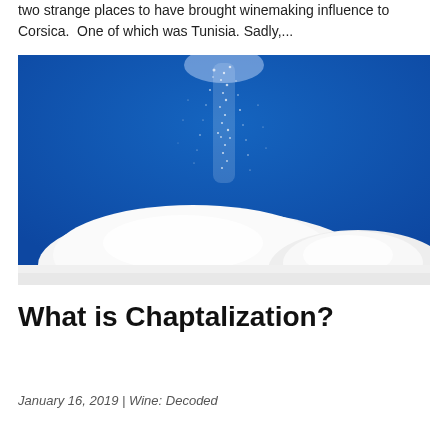two strange places to have brought winemaking influence to Corsica. One of which was Tunisia. Sadly,...
[Figure (photo): White sugar being poured in a stream onto a pile of white sugar against a bright blue background.]
What is Chaptalization?
January 16, 2019 | Wine: Decoded